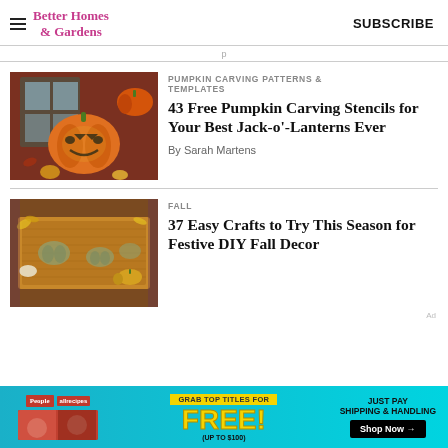Better Homes & Gardens | SUBSCRIBE
PUMPKIN CARVING PATTERNS & TEMPLATES
43 Free Pumpkin Carving Stencils for Your Best Jack-o'-Lanterns Ever
By Sarah Martens
FALL
37 Easy Crafts to Try This Season for Festive DIY Fall Decor
[Figure (photo): Carved jack-o-lantern pumpkin on porch with more pumpkins in background]
[Figure (photo): Fall doormat with pumpkin stencil design surrounded by autumn gourds]
[Figure (advertisement): Ad banner for free magazine subscriptions including People and Allrecipes — Grab top titles for FREE, just pay shipping & handling, Shop Now]